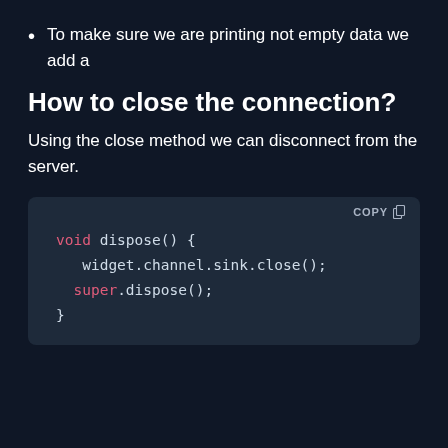To make sure we are printing not empty data we add a
How to close the connection?
Using the close method we can disconnect from the server.
[Figure (screenshot): Code block showing void dispose() function with widget.channel.sink.close(); and super.dispose(); with a COPY button in top right corner, dark background]